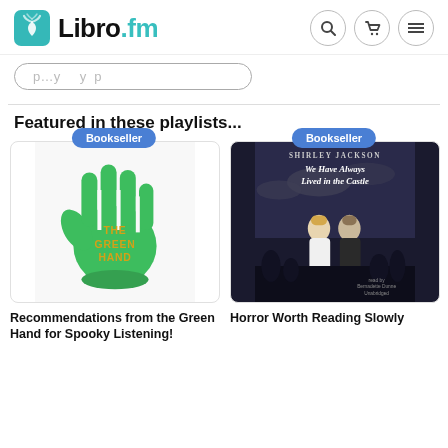Libro.fm
[partially visible pill/search bar text]
Featured in these playlists...
[Figure (illustration): Book cover: The Green Hand - illustration of a green hand on white background with yellow text]
Bookseller
[Figure (illustration): Book cover: We Have Always Lived in the Castle by Shirley Jackson - dark illustration of two girls with silhouettes in background]
Bookseller
Recommendations from the Green Hand for Spooky Listening!
Horror Worth Reading Slowly